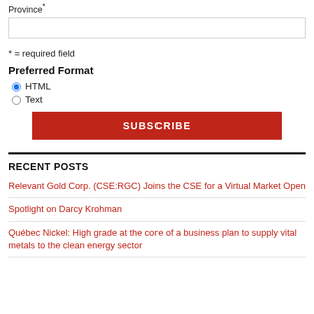Province*
* = required field
Preferred Format
HTML
Text
SUBSCRIBE
RECENT POSTS
Relevant Gold Corp. (CSE:RGC) Joins the CSE for a Virtual Market Open
Spotlight on Darcy Krohman
Québec Nickel: High grade at the core of a business plan to supply vital metals to the clean energy sector